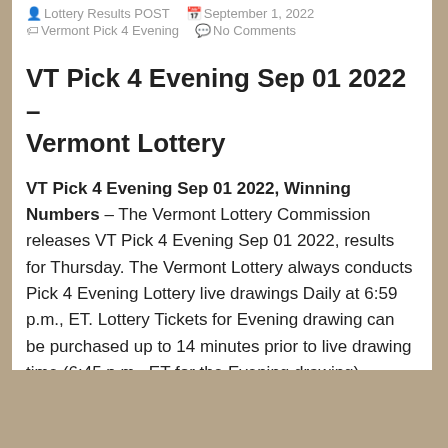Lottery Results POST   September 1, 2022   Vermont Pick 4 Evening   No Comments
VT Pick 4 Evening Sep 01 2022 – Vermont Lottery
VT Pick 4 Evening Sep 01 2022, Winning Numbers – The Vermont Lottery Commission releases VT Pick 4 Evening Sep 01 2022, results for Thursday. The Vermont Lottery always conducts Pick 4 Evening Lottery live drawings Daily at 6:59 p.m., ET. Lottery Tickets for Evening drawing can be purchased up to 14 minutes prior to live drawing time (6:45 p.m., ET for the Evening drawing).